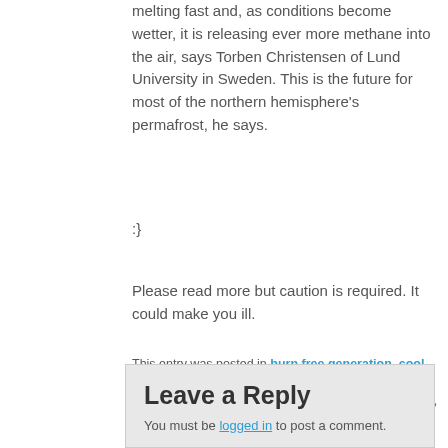melting fast and, as conditions become wetter, it is releasing ever more methane into the air, says Torben Christensen of Lund University in Sweden. This is the future for most of the northern hemisphere's permafrost, he says.
:}
Please read more but caution is required. It could make you ill.
This entry was posted in burn free generation, cool sites, economics, Energy Tough Love Blog, evil polluters, fossil fuels and the United States' Future, global warming, industry apologists, methane production, military, military polluters, penetrating ideas, self inflicted wounds, spirituality, wild animals by DougNic. Bookmark the permalink.
Leave a Reply
You must be logged in to post a comment.